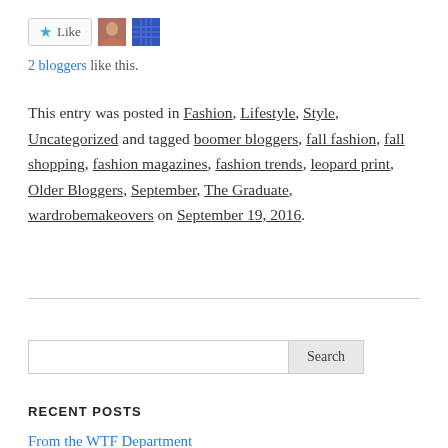[Figure (other): Like button with star icon, two blogger avatars (photo and grid icon)]
2 bloggers like this.
This entry was posted in Fashion, Lifestyle, Style, Uncategorized and tagged boomer bloggers, fall fashion, fall shopping, fashion magazines, fashion trends, leopard print, Older Bloggers, September, The Graduate, wardrobemakeovers on September 19, 2016.
Search
RECENT POSTS
From the WTF Department